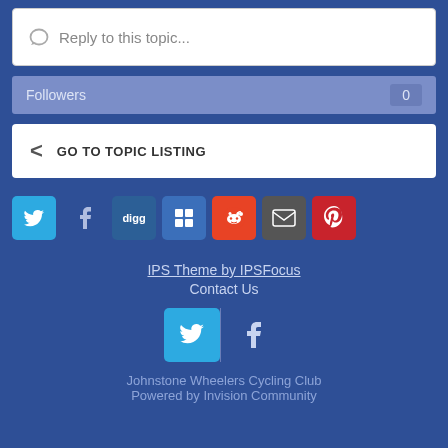Reply to this topic...
Followers  0
GO TO TOPIC LISTING
[Figure (infographic): Social sharing icons: Twitter, Facebook, Digg, Delicious, Reddit, Email, Pinterest]
IPS Theme by IPSFocus
Contact Us
[Figure (infographic): Footer social icons: Twitter and Facebook]
Johnstone Wheelers Cycling Club
Powered by Invision Community